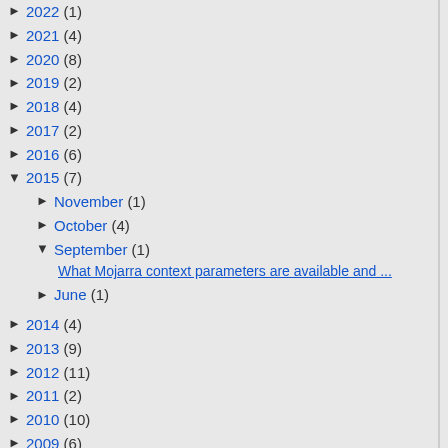► 2022 (1)
► 2021 (4)
► 2020 (8)
► 2019 (2)
► 2018 (4)
► 2017 (2)
► 2016 (6)
▼ 2015 (7)
► November (1)
► October (4)
▼ September (1)
What Mojarra context parameters are available and ...
► June (1)
► 2014 (4)
► 2013 (9)
► 2012 (11)
► 2011 (2)
► 2010 (10)
► 2009 (6)
► 2008 (7)
► 2007 (10)